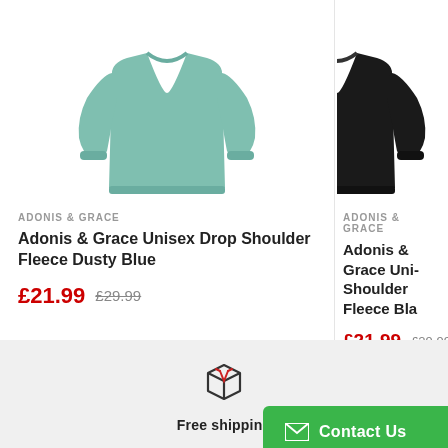[Figure (photo): Teal/dusty blue crewneck sweatshirt on white background]
ADONIS & GRACE
Adonis & Grace Unisex Drop Shoulder Fleece Dusty Blue
£21.99  £29.99
[Figure (photo): Black crewneck sweatshirt on white background (partially visible)]
ADONIS & GRACE
Adonis & Grace Unisex Drop Shoulder Fleece Bla...
£21.99  £29.99
[Figure (illustration): Package/box icon with red stripes]
Free shipping
Contact Us